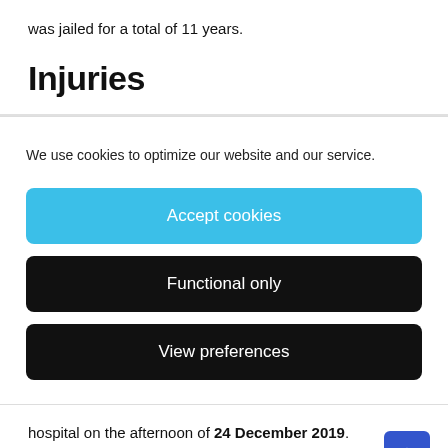was jailed for a total of 11 years.
Injuries
We use cookies to optimize our website and our service.
Accept cookies
Functional only
View preferences
hospital on the afternoon of 24 December 2019.
Marsh suggested Jessica had fallen down the